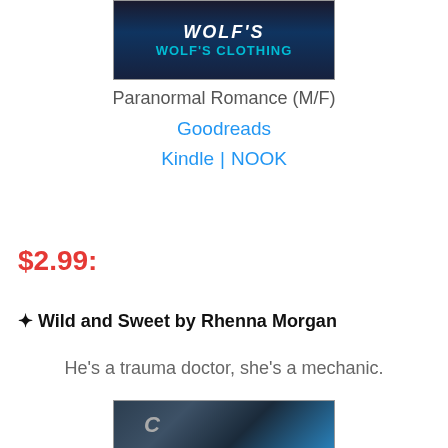[Figure (illustration): Book cover showing 'WOLF'S CLOTHING' text in teal/cyan on dark background]
Paranormal Romance (M/F)
Goodreads
Kindle | NOOK
$2.99:
✦ Wild and Sweet by Rhenna Morgan
He's a trauma doctor, she's a mechanic.
[Figure (photo): Book cover showing close-up of bearded man's face on dark blue background with a 'C' logo]